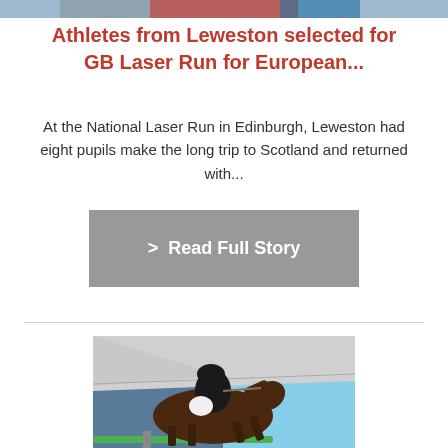[Figure (photo): Top portion of a photo showing athletes with GB flags]
Athletes from Leweston selected for GB Laser Run for European...
At the National Laser Run in Edinburgh, Leweston had eight pupils make the long trip to Scotland and returned with...
> Read Full Story
[Figure (photo): Equestrian show jumping photo: rider in black jacket and helmet on a dark brown horse jumping over a fence, under a white tent canopy with blue sky visible]